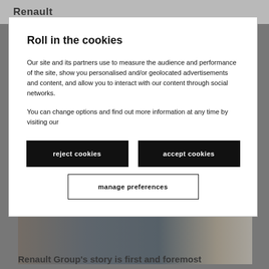Renault
[Figure (photo): Background photo of people standing, partially visible behind cookie consent dialog. Below the photo, partial text 'Renault Group's story is first and foremost'.]
Roll in the cookies
Our site and its partners use to measure the audience and performance of the site, show you personalised and/or geolocated advertisements and content, and allow you to interact with our content through social networks.
You can change options and find out more information at any time by visiting our
reject cookies
accept cookies
manage preferences